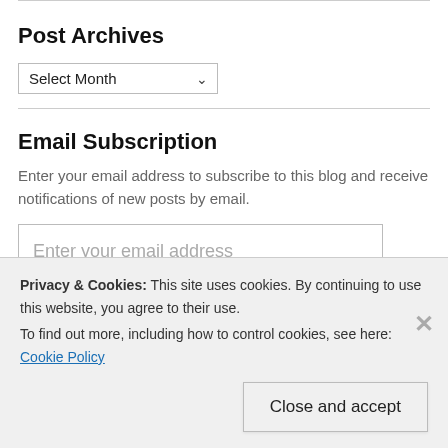Post Archives
Select Month (dropdown)
Email Subscription
Enter your email address to subscribe to this blog and receive notifications of new posts by email.
Enter your email address (input field)
Privacy & Cookies: This site uses cookies. By continuing to use this website, you agree to their use. To find out more, including how to control cookies, see here: Cookie Policy
Close and accept